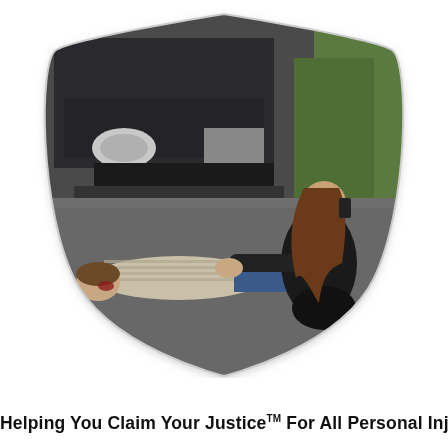[Figure (illustration): A shield-shaped graphic containing a photo of a car accident scene: a woman crouching over an injured man lying on the road, holding a phone to her ear, with a dark SUV visible in the background.]
Helping You Claim Your Justice™ For All Personal Injury Cases